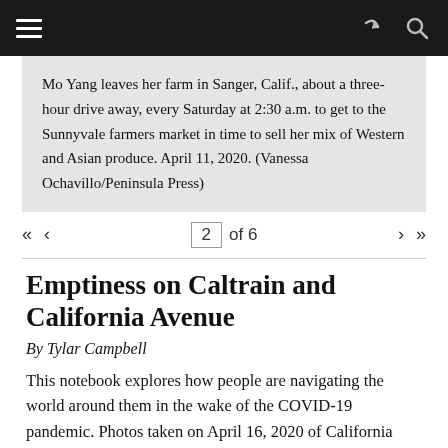Navigation bar with hamburger menu, share icon, search icon
Mo Yang leaves her farm in Sanger, Calif., about a three-hour drive away, every Saturday at 2:30 a.m. to get to the Sunnyvale farmers market in time to sell her mix of Western and Asian produce. April 11, 2020. (Vanessa Ochavillo/Peninsula Press)
2 of 6
Emptiness on Caltrain and California Avenue
By Tylar Campbell
This notebook explores how people are navigating the world around them in the wake of the COVID-19 pandemic. Photos taken on April 16, 2020 of California